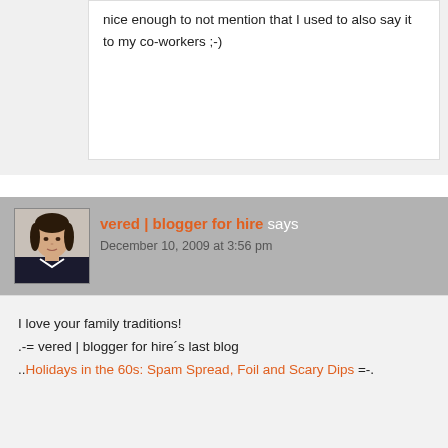nice enough to not mention that I used to also say it to my co-workers ;-)
[Figure (photo): Avatar photo of vered | blogger for hire, a woman with dark hair]
vered | blogger for hire says
December 10, 2009 at 3:56 pm
I love your family traditions!
.-= vered | blogger for hire´s last blog
..Holidays in the 60s: Spam Spread, Foil and Scary Dips =-.